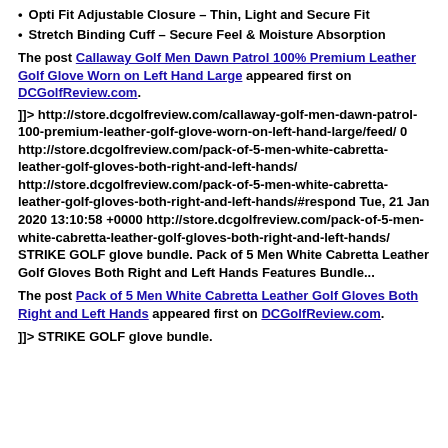Opti Fit Adjustable Closure – Thin, Light and Secure Fit
Stretch Binding Cuff – Secure Feel & Moisture Absorption
The post Callaway Golf Men Dawn Patrol 100% Premium Leather Golf Glove Worn on Left Hand Large appeared first on DCGolfReview.com.
]]> http://store.dcgolfreview.com/callaway-golf-men-dawn-patrol-100-premium-leather-golf-glove-worn-on-left-hand-large/feed/ 0 http://store.dcgolfreview.com/pack-of-5-men-white-cabretta-leather-golf-gloves-both-right-and-left-hands/ http://store.dcgolfreview.com/pack-of-5-men-white-cabretta-leather-golf-gloves-both-right-and-left-hands/#respond Tue, 21 Jan 2020 13:10:58 +0000 http://store.dcgolfreview.com/pack-of-5-men-white-cabretta-leather-golf-gloves-both-right-and-left-hands/ STRIKE GOLF glove bundle. Pack of 5 Men White Cabretta Leather Golf Gloves Both Right and Left Hands Features Bundle...
The post Pack of 5 Men White Cabretta Leather Golf Gloves Both Right and Left Hands appeared first on DCGolfReview.com.
]]> STRIKE GOLF glove bundle.